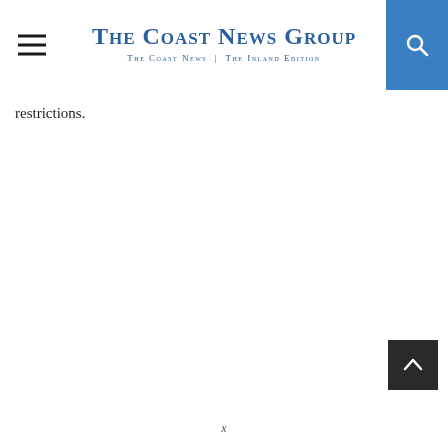The Coast News Group — The Coast News | The Inland Edition
restrictions.